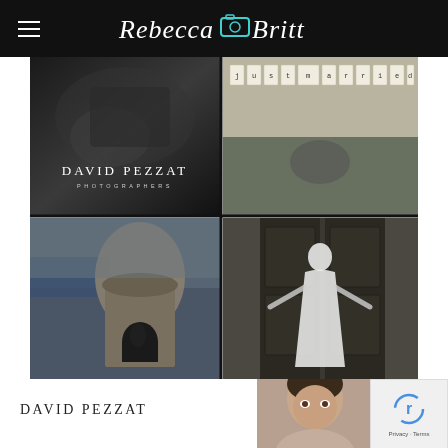Rebecca Britt Photography — navigation header with logo and hamburger menu
[Figure (photo): 2x2 grid of wedding/photography images: top-left black-and-white dark photo with David Pezzat Photographers logo overlay; top-right color photo of 'just married' banner on vintage Mercedes; bottom-left dramatic photo of couple at Puerto Rico fort sentry box with ocean view; bottom-right bride in white gown standing at ornate dark wooden doors]
[Figure (logo): David Pezzat logo in black serif lettering at bottom left of page]
[Figure (photo): Portrait of young man partially visible at bottom right]
[Figure (other): reCAPTCHA widget overlay at bottom right corner showing Google reCAPTCHA logo and Privacy/Terms text]